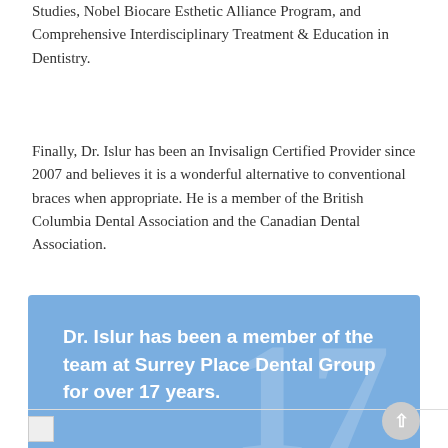Studies, Nobel Biocare Esthetic Alliance Program, and Comprehensive Interdisciplinary Treatment & Education in Dentistry.
Finally, Dr. Islur has been an Invisalign Certified Provider since 2007 and believes it is a wonderful alternative to conventional braces when appropriate. He is a member of the British Columbia Dental Association and the Canadian Dental Association.
Dr. Islur has been a member of the team at Surrey Place Dental Group for over 17 years.